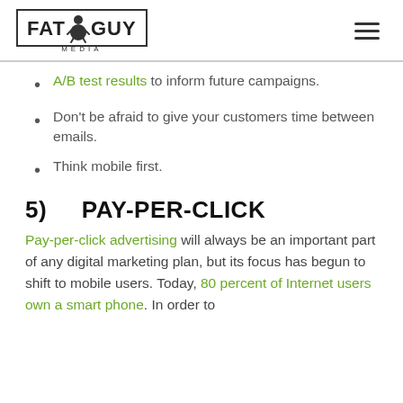FAT GUY MEDIA
A/B test results to inform future campaigns.
Don't be afraid to give your customers time between emails.
Think mobile first.
5)  PAY-PER-CLICK
Pay-per-click advertising will always be an important part of any digital marketing plan, but its focus has begun to shift to mobile users. Today, 80 percent of Internet users own a smart phone. In order to